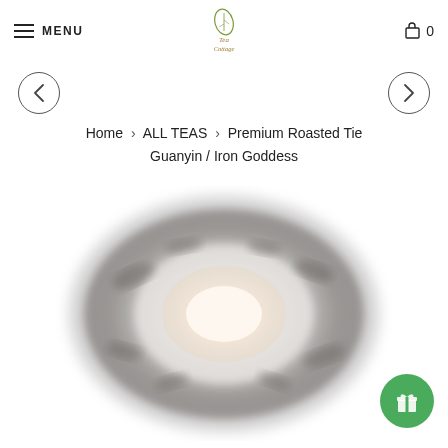MENU | Tea Cottage logo | Cart 0
[Figure (other): Left chevron navigation arrow in a circle]
[Figure (other): Right chevron navigation arrow in a circle]
Home > ALL TEAS > Premium Roasted Tie Guanyin / Iron Goddess
[Figure (photo): Blurred overhead photo of roasted Tie Guanyin / Iron Goddess oolong tea leaves arranged around a white cup of tea, seen from above on a white background]
[Figure (other): Green circular gift/rewards button in bottom right corner]